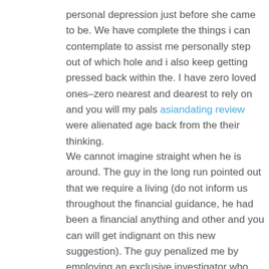personal depression just before she came to be. We have complete the things i can contemplate to assist me personally step out of which hole and i also keep getting pressed back within the. I have zero loved ones–zero nearest and dearest to rely on and you will my pals asiandating review were alienated age back from the their thinking.
We cannot imagine straight when he is around. The guy in the long run pointed out that we require a living (do not inform us throughout the financial guidance, he had been a financial anything and other and you can will get indignant on this new suggestion). The guy penalized me by employing an exclusive investigator who pounded into the the entranceway of our own domestic the evening We went right back (the guy confident family relations in order to coax me domestic) which frightened united states and then supported myself having divorce case documents